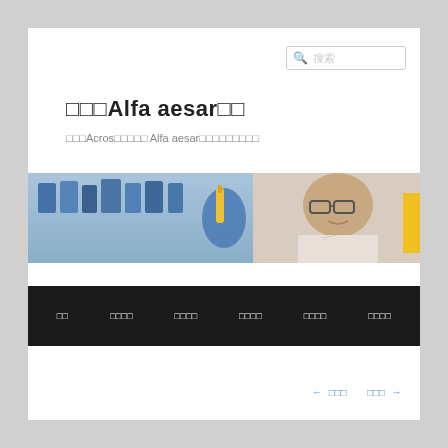[Figure (screenshot): Search box with magnifying glass icon and placeholder text in CJK characters]
□□□Alfa aesar□□
□□□Acros□□□□□ Alfa aesar□□□□□□□□□
[Figure (photo): Laboratory banner image showing a scientist in safety glasses holding a vial, with laboratory bottles in background]
□□  □□□□  □□□□  □□□□  □□□□  □□□□
← □□□  □□□ →